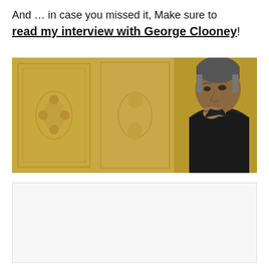And … in case you missed it, Make sure to read my interview with George Clooney!
[Figure (photo): Photo of George Clooney in a black leather jacket, hand raised to chin in a thoughtful pose, against a golden ornate background]
[Figure (other): Empty light gray box/placeholder rectangle]